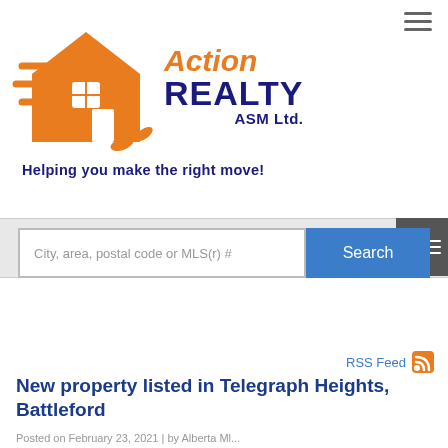[Figure (logo): Action Realty ASM Ltd. logo with orange running house figure and blue text. Tagline: Helping you make the right move!]
[Figure (screenshot): Search bar with placeholder 'City, area, postal code or MLS(r) #' and blue Search button]
RSS Feed
New property listed in Telegraph Heights, Battleford
Posted on February 23, 2021 | by Alberta Ml...